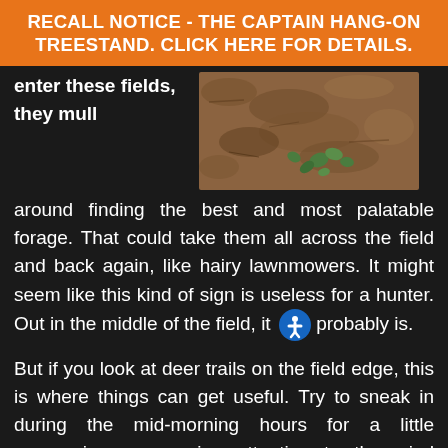RECALL NOTICE - THE CAPTAIN HANG-ON TREESTAND. CLICK HERE FOR DETAILS.
enter these fields, they mull
[Figure (photo): Close-up photo of soil/dirt ground with small green seedling leaves sprouting]
around finding the best and most palatable forage. That could take them all across the field and back again, like hairy lawnmowers. It might seem like this kind of sign is useless for a hunter. Out in the middle of the field, it probably is.
But if you look at deer trails on the field edge, this is where things can get useful. Try to sneak in during the mid-morning hours for a little reconnaissance, paying attention to the wind direction so that you don't spook any bedded deer nearby. Look for fresh tracks from morning feeding, paying attention to which dire they're facing. If you find lots of tracks leading away from